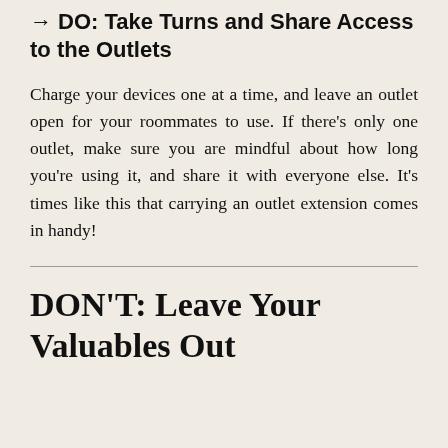→ DO: Take Turns and Share Access to the Outlets
Charge your devices one at a time, and leave an outlet open for your roommates to use. If there's only one outlet, make sure you are mindful about how long you're using it, and share it with everyone else. It's times like this that carrying an outlet extension comes in handy!
DON'T: Leave Your Valuables Out